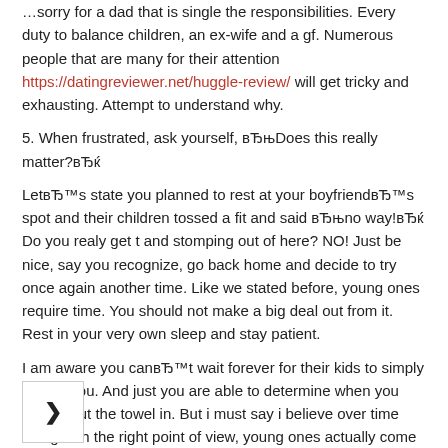…sorry for a dad that is single the responsibilities. Every duty to balance children, an ex-wife and a gf. Numerous people that are many for their attention https://datingreviewer.net/huggle-review/ will get tricky and exhausting. Attempt to understand why.
5. When frustrated, ask yourself, вЂњDoes this really matter?вЂќ
LetвЂ™s state you planned to rest at your boyfriendвЂ™s spot and their children tossed a fit and said вЂњno way!вЂќ Do you realy get t and stomping out of here? NO! Just be nice, say you recognize, go back home and decide to try once again another time. Like we stated before, young ones require time. You should not make a big deal out from it. Rest in your very own sleep and stay patient.
I am aware you canвЂ™t wait forever for their kids to simply accept you. And just you are able to determine when you should put the towel in. But i must say i believe over time along with the right point of view, young ones actually come around, and you may wind up having a relationship that is wonderful. IвЂ™ve seen it happen in countless relationships!